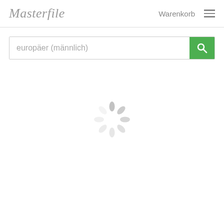Masterfile    Warenkorb  ☰
europäer (männlich)
[Figure (other): Loading spinner — circular arrangement of grey oval/teardrop shapes indicating content is loading]